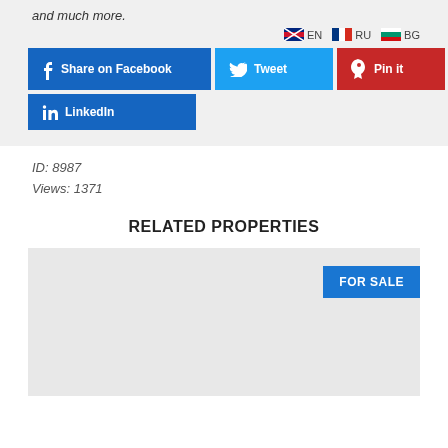and much more.
EN  RU  BG
[Figure (infographic): Social share buttons: Share on Facebook (blue), Tweet (light blue), Pin it (red), LinkedIn (blue)]
ID:  8987
Views:  1371
RELATED PROPERTIES
[Figure (other): Property listing card with light gray background and a blue FOR SALE badge in the top right corner]